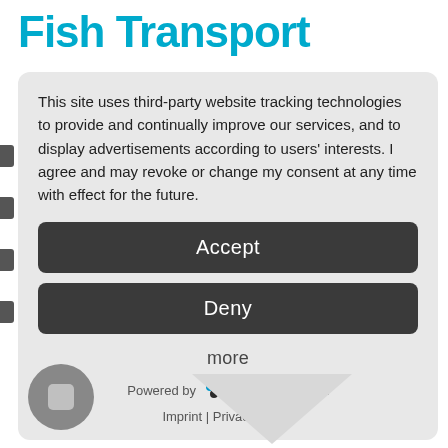Fish Transport
This site uses third-party website tracking technologies to provide and continually improve our services, and to display advertisements according to users' interests. I agree and may revoke or change my consent at any time with effect for the future.
Accept
Deny
more
Powered by  usercentrics  &
Imprint | Privacy Policy